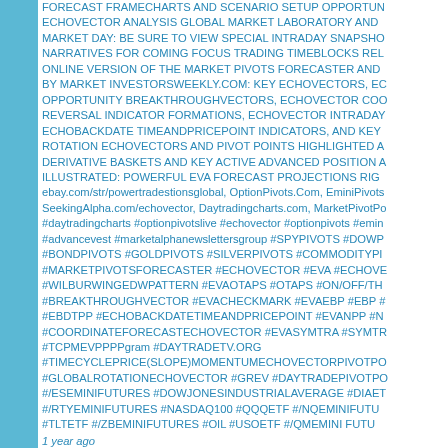FORECAST FRAMECHARTS AND SCENARIO SETUP OPPORTUN... ECHOVECTOR ANALYSIS GLOBAL MARKET LABORATORY AND ... MARKET DAY: BE SURE TO VIEW SPECIAL INTRADAY SNAPSHO... NARRATIVES FOR COMING FOCUS TRADING TIMEBLOCKS REL... ONLINE VERSION OF THE MARKET PIVOTS FORECASTER AND ... BY MARKET INVESTORSWEEKLY.COM: KEY ECHOVECTORS, EC... OPPORTUNITY BREAKTHROUGHVECTORS, ECHOVECTOR COO... REVERSAL INDICATOR FORMATIONS, ECHOVECTOR INTRADAY... ECHOBACKDATE TIMEANDPRICEPOINT INDICATORS, AND KEY... ROTATION ECHOVECTORS AND PIVOT POINTS HIGHLIGHTED A... DERIVATIVE BASKETS AND KEY ACTIVE ADVANCED POSITION A... ILLUSTRATED: POWERFUL EVA FORECAST PROJECTIONS RIG... ebay.com/str/powertradestionsglobal, OptionPivots.Com, EminiPivots... SeekingAlpha.com/echovector, Daytradingcharts.com, MarketPivotPo... #daytradingcharts #optionpivotslive #echovector #optionpivots #emin... #advancevest #marketalphanewslettersgroup #SPYPIVOTS #DOWP... #BONDPIVOTS #GOLDPIVOTS #SILVERPIVOTS #COMMODITYPI... #MARKETPIVOTSFORECASTER #ECHOVECTOR #EVA #ECHOVE... #WILBURWINGEDWPATTERN #EVAOTAPS #OTAPS #ON/OFF/TH... #BREAKTHROUGHVECTOR #EVACHECKMARK #EVAEBP #EBP #... #EBDTPP #ECHOBACKDATETIMEANDPRICEPOINT #EVANPP #N... #COORDINATEFORECASTECHOVECTOR #EVASYMTRA #SYMTR... #TCPMEVPPPPgram #DAYTRADETV.ORG #TIMECYCLEPRICE(SLOPE)MOMENTUMECHOVECTORPIVOTPO... #GLOBALROTATIONECHOVECTOR #GREV #DAYTRADEPIVOTPO... #/ESEMINIFUTURES #DOWJONESINDUSTRIALAVERAGE #DIAET... #/RTYEMINIFUTURES #NASDAQ100 #QQQETF #/NQEMINIFUTU... #TLTETF #/ZBEMINIFUTURES #OIL #USOETF #/QMEMINI FUTU...
1 year ago